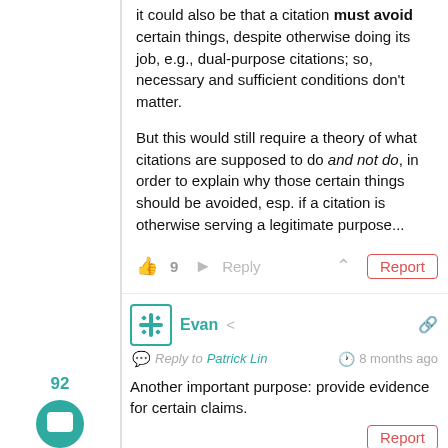it could also be that a citation must avoid certain things, despite otherwise doing its job, e.g., dual-purpose citations; so, necessary and sufficient conditions don't matter.
But this would still require a theory of what citations are supposed to do and not do, in order to explain why those certain things should be avoided, esp. if a citation is otherwise serving a legitimate purpose...
👍 9  ➤ Reply  ∧  Report
Evan  Reply to Patrick Lin  8 months ago
Another important purpose: provide evidence for certain claims. Report
👍 1  ➤ Reply  ∧
Patrick Lin